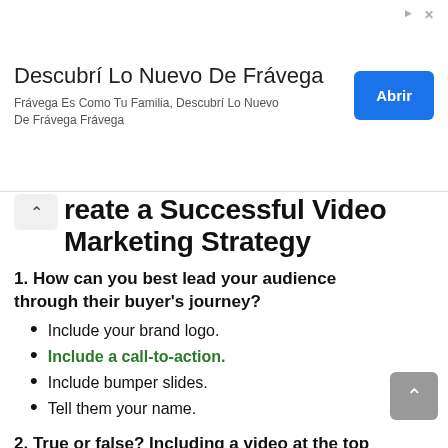[Figure (other): Advertisement banner for Frávega with title 'Descubrí Lo Nuevo De Frávega', subtitle text, and a blue 'Abrir' button]
reate a Successful Video Marketing Strategy
1. How can you best lead your audience through their buyer's journey?
Include your brand logo.
Include a call-to-action.
Include bumper slides.
Tell them your name.
2. True or false? Including a video at the top of a website page increases bounce rate.